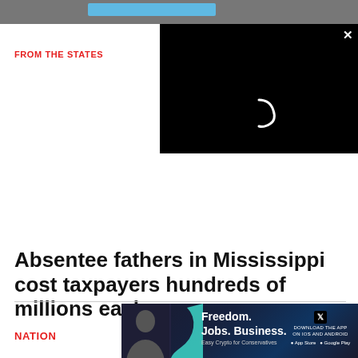[Figure (screenshot): Top image strip showing a dark photo partially visible behind a video player overlay. The video overlay is a black rectangle with a loading spinner arc and an X close button in the top right corner.]
FROM THE STATES
Absentee fathers in Mississippi cost taxpayers hundreds of millions each year
NATION
[Figure (screenshot): Advertisement banner: Freedom. Jobs. Business. Easy Crypto for Conservatives. Download the app on iOS and Android. Shows person and X (Twitter) logo.]